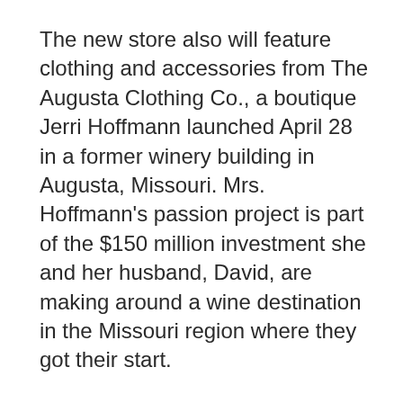The new store also will feature clothing and accessories from The Augusta Clothing Co., a boutique Jerri Hoffmann launched April 28 in a former winery building in Augusta, Missouri. Mrs. Hoffmann's passion project is part of the $150 million investment she and her husband, David, are making around a wine destination in the Missouri region where they got their start.
Other products from Hoffmann companies will be grouped by their specific focus in vignettes at the Hoffmann Experience store, Armstrong said. For instance, a watersports area will feature information about the Hoffmanns' Naples Beach Water Sports, Marco Island Water Sports and Regency Watersports activities. A local tourism section will promote Everglades Excursions, Miss Naples and Naples Princess sightseeing...